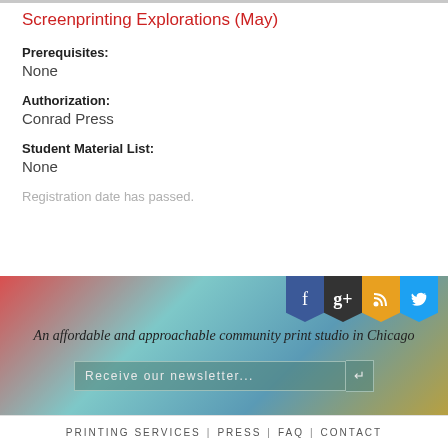Screenprinting Explorations (May)
Prerequisites:
None
Authorization:
Conrad Press
Student Material List:
None
Registration date has passed.
[Figure (infographic): Gradient footer banner with social media icons (Facebook, Google+, RSS, Twitter) shaped as bookmark pennants, tagline text, and newsletter signup input field.]
An affordable and approachable community print studio in Chicago
Receive our newsletter...
PRINTING SERVICES | PRESS | FAQ | CONTACT